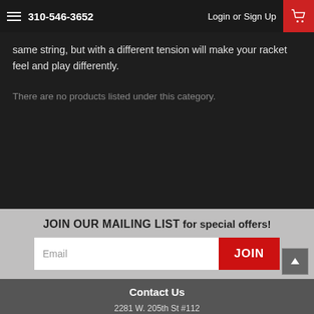310-546-3652  Login or Sign Up
same string, but with a different tension will make your racket feel and play differently.
There are no products listed under this category.
JOIN OUR MAILING LIST for special offers!
Contact Us
HL Badminton
2281 W. 205th St #112
Torrance, CA 90501
Accounts & Orders
Gift Certificates